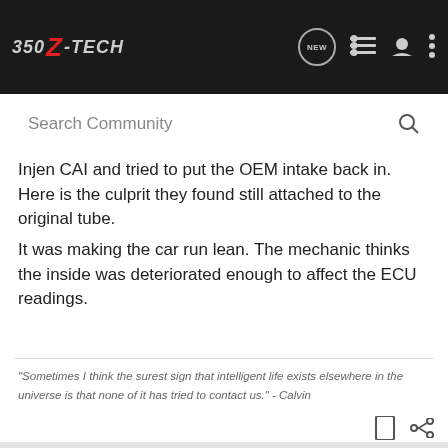350Z-TECH
Injen CAI and tried to put the OEM intake back in. Here is the culprit they found still attached to the original tube.
It was making the car run lean. The mechanic thinks the inside was deteriorated enough to affect the ECU readings.
"Sometimes I think the surest sign that intelligent life exists elsewhere in the universe is that none of it has tried to contact us." - Calvin